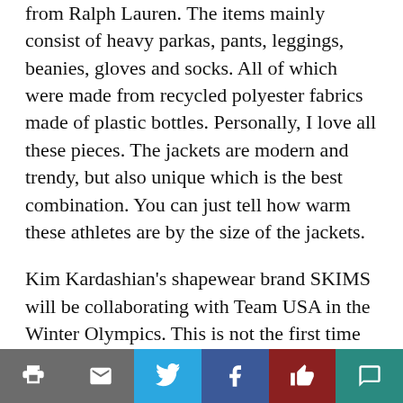from Ralph Lauren. The items mainly consist of heavy parkas, pants, leggings, beanies, gloves and socks. All of which were made from recycled polyester fabrics made of plastic bottles. Personally, I love all these pieces. The jackets are modern and trendy, but also unique which is the best combination. You can just tell how warm these athletes are by the size of the jackets.
Kim Kardashian's shapewear brand SKIMS will be collaborating with Team USA in the Winter Olympics. This is not the first time that SKIMS loungewear has partnered with team USA, they also collabed back in 2020 at the Summer Olympic Games in Tokyo. This collaboration is designed for the female athletes participating in the Olympic Games. The clothing consists of undergarments for
Share toolbar with print, email, Twitter, Facebook, like, and comment buttons